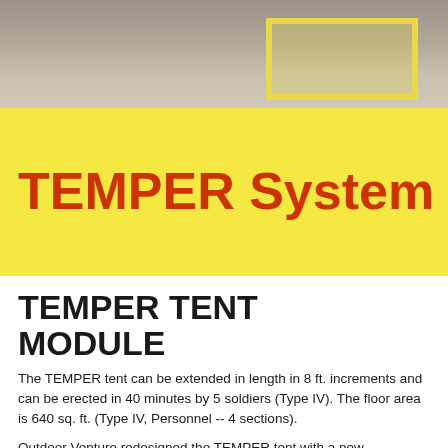[Figure (photo): Overhead or angled photo of a yellow-outlined rectangular frame or tent floor panel on a concrete/gravel surface.]
TEMPER System
TEMPER TENT MODULE
The TEMPER tent can be extended in length in 8 ft. increments and can be erected in 40 minutes by 5 soldiers (Type IV). The floor area is 640 sq. ft. (Type IV, Personnel -- 4 sections).
Outdoor Venture redesigned the TEMPER tent with a new